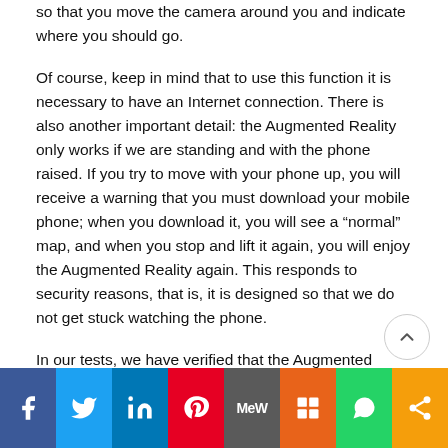so that you move the camera around you and indicate where you should go.
Of course, keep in mind that to use this function it is necessary to have an Internet connection. There is also another important detail: the Augmented Reality only works if we are standing and with the phone raised. If you try to move with your phone up, you will receive a warning that you must download your mobile phone; when you download it, you will see a “normal” map, and when you stop and lift it again, you will enjoy the Augmented Reality again. This responds to security reasons, that is, it is designed so that we do not get stuck watching the phone.
In our tests, we have verified that the Augmented Reality in Google Maps is not only an addition, but it is...
[Figure (infographic): Social media share buttons bar: Facebook (blue), Twitter (light blue), LinkedIn (dark blue), Pinterest (red), MeWe (gray), Mix (orange-red), WhatsApp (green), Share (amber/yellow)]